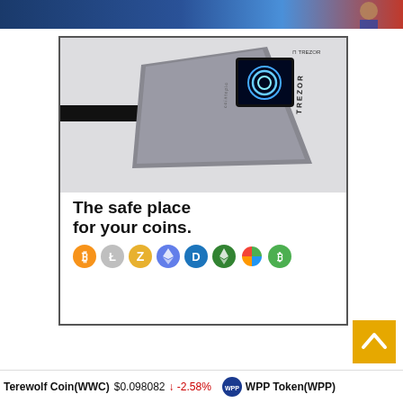[Figure (photo): Top banner image showing a partial scene with blue background]
[Figure (illustration): Trezor hardware wallet advertisement. Shows a Trezor hardware cryptocurrency wallet device connected via USB cable, displaying a circular logo on its screen. Text reads 'The safe place for your coins.' with cryptocurrency icons below (Bitcoin, Litecoin, Zcash, Ethereum, Dash, Ethereum Classic, Particl/coin, Bitcoin Cash).]
[Figure (other): Back to top button - gold/amber colored square with upward chevron arrow]
Terewolf Coin(WWC) $0.098082 ↓ -2.58%   WPP Token(WPP)